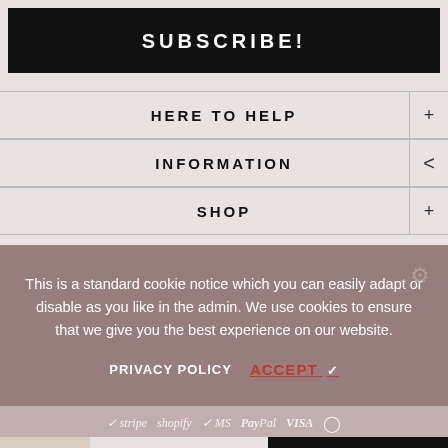SUBSCRIBE!
HERE TO HELP
INFORMATION
SHOP
This is a standard cookie notice which you can easily adapt or disable as you like in the admin. We use cookies to ensure that we give you the best experience on our website.
PRIVACY POLICY   ACCEPT ✓
✓ stripe   shopify   ✓ MS   PayPal   VISA
$30.98
Add to cart